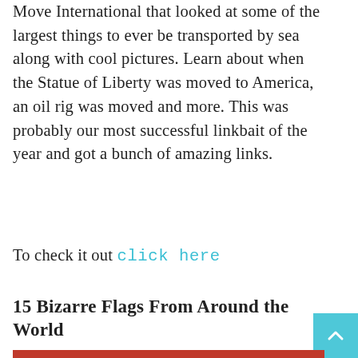Move International that looked at some of the largest things to ever be transported by sea along with cool pictures. Learn about when the Statue of Liberty was moved to America, an oil rig was moved and more. This was probably our most successful linkbait of the year and got a bunch of amazing links.
To check it out click here
15 Bizarre Flags From Around the World